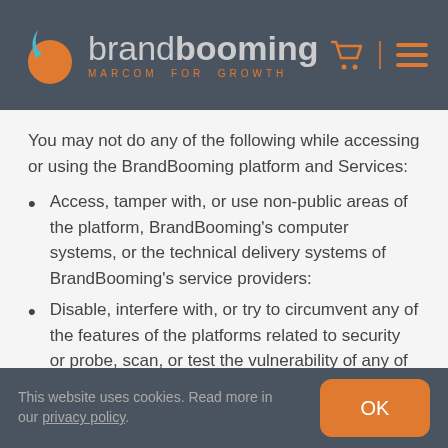[Figure (logo): BrandBooming logo with orange droplet/circle icon and gray text 'brandbooming MARCOM FOR GROWTH' on dark gray header background]
You may not do any of the following while accessing or using the BrandBooming platform and Services:
Access, tamper with, or use non-public areas of the platform, BrandBooming's computer systems, or the technical delivery systems of BrandBooming's service providers:
Disable, interfere with, or try to circumvent any of the features of the platforms related to security or probe, scan, or test the vulnerability of any of our systems:
This website uses cookies. Read more in our privacy policy.